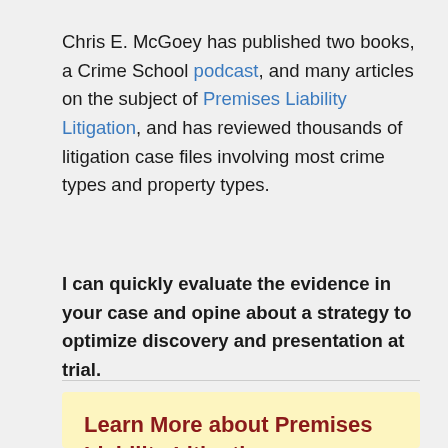Chris E. McGoey has published two books, a Crime School podcast, and many articles on the subject of Premises Liability Litigation, and has reviewed thousands of litigation case files involving most crime types and property types.
I can quickly evaluate the evidence in your case and opine about a strategy to optimize discovery and presentation at trial.
Learn More about Premises Liability Litigation